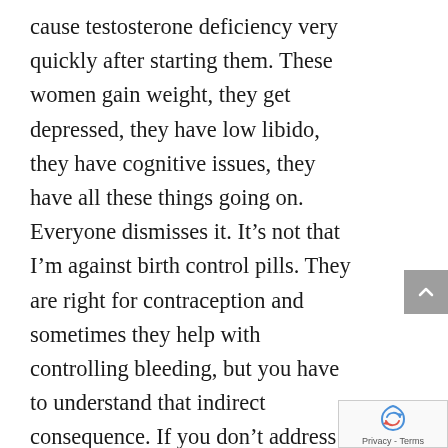cause testosterone deficiency very quickly after starting them. These women gain weight, they get depressed, they have low libido, they have cognitive issues, they have all these things going on. Everyone dismisses it. It’s not that I’m against birth control pills. They are right for contraception and sometimes they help with controlling bleeding, but you have to understand that indirect consequence. If you don’t address it, those women are going to gain weight, they’re going to get depressed, they’re going to have low libido, they’re going to feel terrible, and everyone’s going to dismiss them. They’ll get labeled as crazy or as having
[Figure (other): Scroll-up navigation button, gray background with white chevron arrow pointing up]
[Figure (other): reCAPTCHA logo and Privacy - Terms text in bottom right corner]